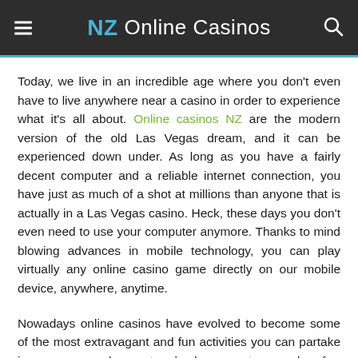NZ Online Casinos
Today, we live in an incredible age where you don't even have to live anywhere near a casino in order to experience what it's all about. Online casinos NZ are the modern version of the old Las Vegas dream, and it can be experienced down under. As long as you have a fairly decent computer and a reliable internet connection, you have just as much of a shot at millions than anyone that is actually in a Las Vegas casino. Heck, these days you don't even need to use your computer anymore. Thanks to mind blowing advances in mobile technology, you can play virtually any online casino game directly on our mobile device, anywhere, anytime.
Nowadays online casinos have evolved to become some of the most extravagant and fun activities you can partake in, you are welcome to check a great example of a respected online casino in NZ in our skycity casino online